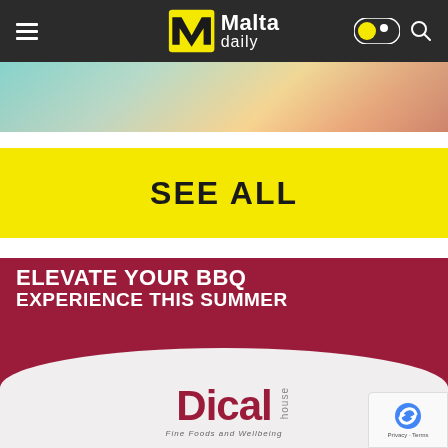Malta daily — navigation bar with hamburger menu, logo, theme toggle, and search icon
[Figure (photo): Partial colorful food/salad photo cropped at top of page]
SEE ALL
[Figure (illustration): Dical House advertisement banner with dark red background reading 'ELEVATE YOUR BBQ EXPERIENCE THIS SUMMER' and Dical house logo with tagline 'Fine Foods and Wellbeing']